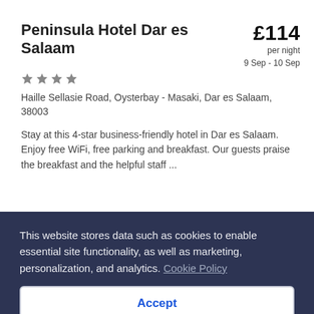Peninsula Hotel Dar es Salaam
£114 per night 9 Sep - 10 Sep
★★★★
Haille Sellasie Road, Oysterbay - Masaki, Dar es Salaam, 38003
Stay at this 4-star business-friendly hotel in Dar es Salaam. Enjoy free WiFi, free parking and breakfast. Our guests praise the breakfast and the helpful staff ...
4.1/5 Very good! (108 reviews)
This website stores data such as cookies to enable essential site functionality, as well as marketing, personalization, and analytics. Cookie Policy
Accept
Deny